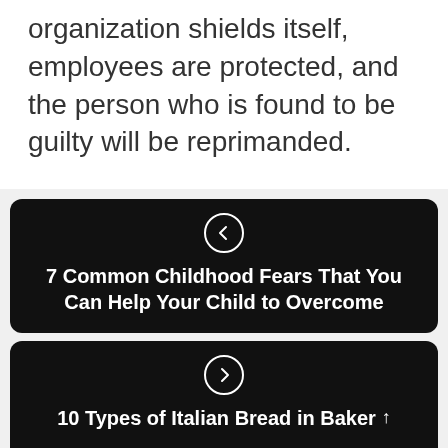organization shields itself, employees are protected, and the person who is found to be guilty will be reprimanded.
7 Common Childhood Fears That You Can Help Your Child to Overcome
10 Types of Italian Bread in Baker and Restaurants